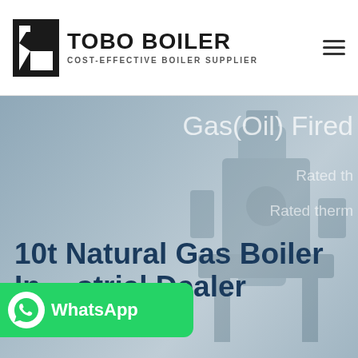[Figure (logo): TOBO BOILER logo with black geometric icon and text 'TOBO BOILER / COST-EFFECTIVE BOILER SUPPLIER']
[Figure (photo): Hero banner image showing industrial boiler equipment in background with grey/blue overlay. Text visible: 'Gas(Oil) Fired', 'Rated th...', 'Rated therm...' on the right side, and large bold text '10t Natural Gas Boiler Industrial Dealer Kazakhstan' on the lower left. A WhatsApp button overlays the bottom left.]